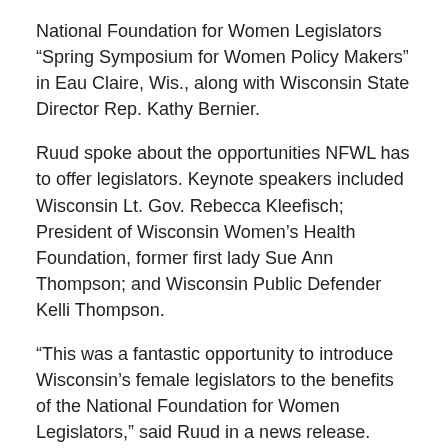National Foundation for Women Legislators “Spring Symposium for Women Policy Makers” in Eau Claire, Wis., along with Wisconsin State Director Rep. Kathy Bernier.
Ruud spoke about the opportunities NFWL has to offer legislators. Keynote speakers included Wisconsin Lt. Gov. Rebecca Kleefisch; President of Wisconsin Women’s Health Foundation, former first lady Sue Ann Thompson; and Wisconsin Public Defender Kelli Thompson.
“This was a fantastic opportunity to introduce Wisconsin’s female legislators to the benefits of the National Foundation for Women Legislators,” said Ruud in a news release. “Along with introducing NFWL to legislators we were able to discuss important public policy issues we’re all working on as legislators.”
Since 1938, NFWL has served as a forum for elected women from across the country to be empowered through information and experience. As the oldest organization for elected women in America, and the only one that includes